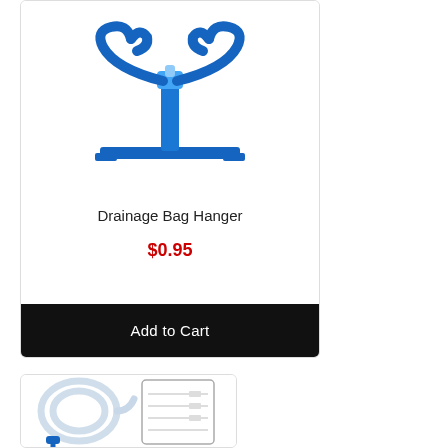[Figure (photo): Blue plastic drainage bag hanger product photo on white background]
Drainage Bag Hanger
$0.95
Add to Cart
[Figure (photo): Medical drainage bag with tubing product photo on white background]